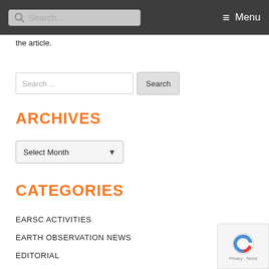Search ... Menu
the article.
[Figure (other): Search input box with Search button]
ARCHIVES
[Figure (other): Select Month dropdown]
CATEGORIES
EARSC ACTIVITIES
EARTH OBSERVATION NEWS
EDITORIAL
[Figure (other): reCAPTCHA badge with Privacy and Terms links]